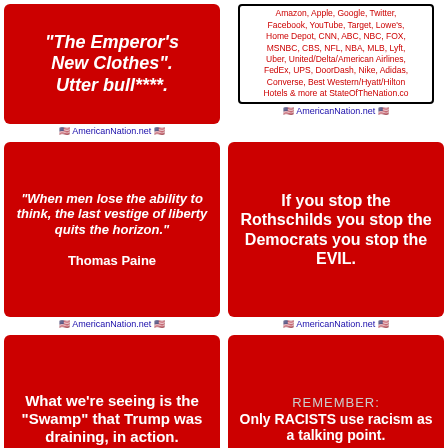[Figure (infographic): Red box with white bold text: '"The Emperor's New Clothes". Utter bull****.]
🇺🇸 AmericanNation.net 🇺🇸
[Figure (infographic): White box with red text listing companies: Amazon, Apple, Google, Twitter, Facebook, YouTube, Target, Lowe's, Home Depot, CNN, ABC, NBC, FOX, MSNBC, CBS, NFL, NBA, MLB, Lyft, Uber, United/Delta/American Airlines, FedEx, UPS, DoorDash, Nike, Adidas, Converse, Best Western/Hyatt/Hilton Hotels & more at StateOfTheNation.co]
🇺🇸 AmericanNation.net 🇺🇸
[Figure (infographic): Red box with white bold text: '"When men lose the ability to think, the last vestige of liberty quits the horizon." Thomas Paine]
🇺🇸 AmericanNation.net 🇺🇸
[Figure (infographic): Red box with white bold text: 'If you stop the Rothschilds you stop the Democrats you stop the EVIL.']
🇺🇸 AmericanNation.net 🇺🇸
[Figure (infographic): Red box with white bold text: 'What we're seeing is the "Swamp" that Trump was draining, in action.']
🇺🇸 AmericanNation.net 🇺🇸
[Figure (infographic): Red box with text: 'REMEMBER: Only RACISTS use racism as a talking point.']